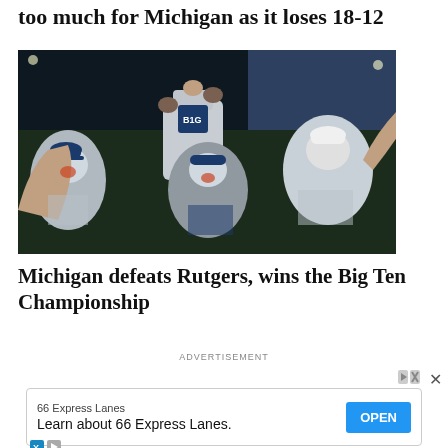too much for Michigan as it loses 18-12
[Figure (photo): Michigan baseball team celebrating with the Big Ten Championship trophy, players raising the trophy and cheering at a stadium at night]
Michigan defeats Rutgers, wins the Big Ten Championship
ADVERTISEMENT
[Figure (infographic): Advertisement banner: 66 Express Lanes - Learn about 66 Express Lanes. with an OPEN button]